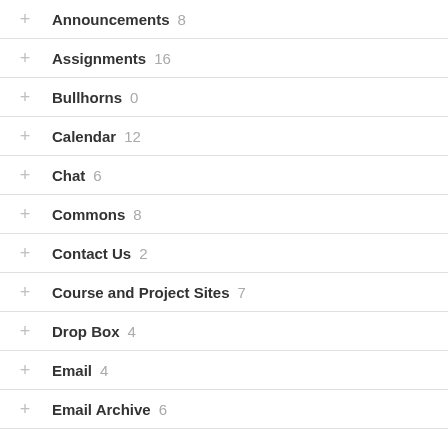Announcements 8
Assignments 16
Bullhorns 0
Calendar 12
Chat 6
Commons 8
Contact Us 2
Course and Project Sites 7
Drop Box 4
Email 4
Email Archive 6